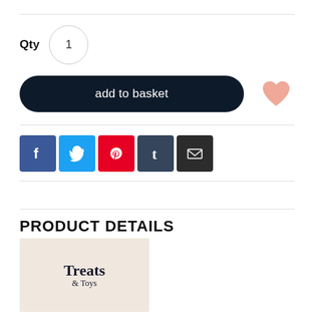Qty  1
add to basket
[Figure (illustration): Heart/wishlist icon in salmon/pink color]
[Figure (illustration): Social media sharing icons: Facebook, Twitter, Pinterest, Tumblr, Email]
PRODUCT DETAILS
[Figure (logo): Treats & Toys brand logo on a beige/cream background]